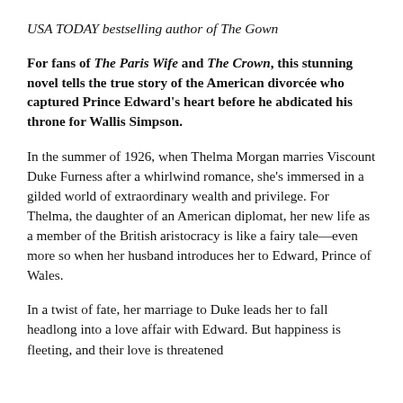USA TODAY bestselling author of The Gown
For fans of The Paris Wife and The Crown, this stunning novel tells the true story of the American divorcée who captured Prince Edward's heart before he abdicated his throne for Wallis Simpson.
In the summer of 1926, when Thelma Morgan marries Viscount Duke Furness after a whirlwind romance, she's immersed in a gilded world of extraordinary wealth and privilege. For Thelma, the daughter of an American diplomat, her new life as a member of the British aristocracy is like a fairy tale—even more so when her husband introduces her to Edward, Prince of Wales.
In a twist of fate, her marriage to Duke leads her to fall headlong into a love affair with Edward. But happiness is fleeting, and their love is threatened